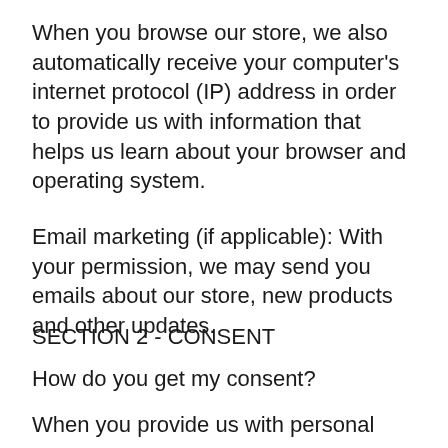When you browse our store, we also automatically receive your computer's internet protocol (IP) address in order to provide us with information that helps us learn about your browser and operating system.
Email marketing (if applicable): With your permission, we may send you emails about our store, new products and other updates.
SECTION 2 - CONSENT
How do you get my consent?
When you provide us with personal